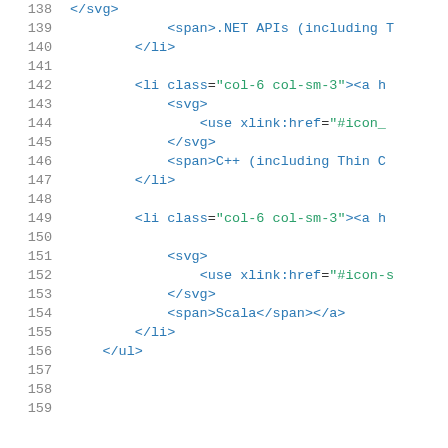138   </svg>
139       <span>.NET APIs (including T
140   </li>
141
142       <li class="col-6 col-sm-3"><a h
143           <svg>
144               <use xlink:href="#icon_
145           </svg>
146           <span>C++ (including Thin C
147       </li>
148
149       <li class="col-6 col-sm-3"><a h
150                                       ta
151           <svg>
152               <use xlink:href="#icon-s
153           </svg>
154           <span>Scala</span></a>
155       </li>
156   </ul>
157
158
159